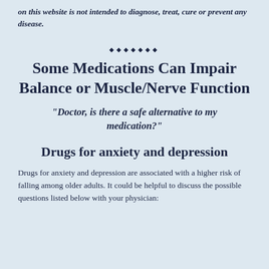on this website is not intended to diagnose, treat, cure or prevent any disease.
◆◆◆◆◆◆◆
Some Medications Can Impair Balance or Muscle/Nerve Function
“Doctor, is there a safe alternative to my medication?”
Drugs for anxiety and depression
Drugs for anxiety and depression are associated with a higher risk of falling among older adults. It could be helpful to discuss the possible questions listed below with your physician: